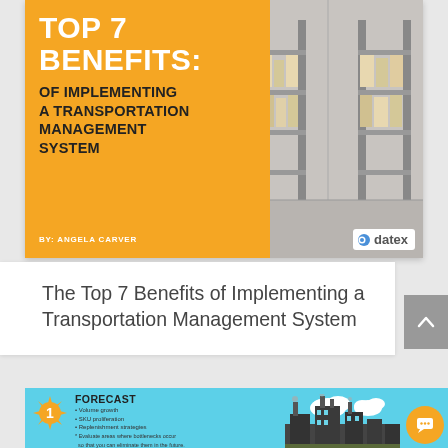[Figure (illustration): Book cover with orange background on the left showing title text and photo of warehouse shelving on the right. Datex logo in bottom right corner.]
The Top 7 Benefits of Implementing a Transportation Management System
[Figure (infographic): Bottom infographic strip with light blue background showing item 1: FORECAST with bullet points: Volume growth, SKU proliferation, Replenishment strategies. Text: Evaluate areas where bottlenecks occur so that you can eliminate them in the future. Factory silhouette illustration on the right. Orange chat button bottom right.]